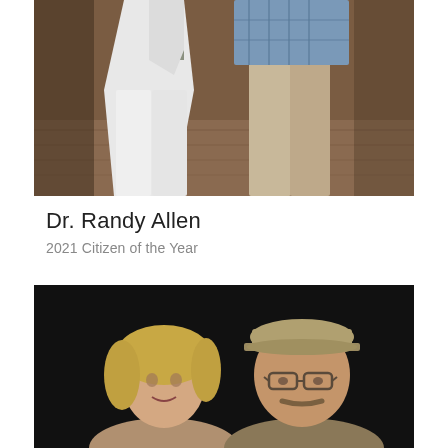[Figure (photo): Two people photographed from mid-torso down, one wearing white outfit, the other wearing khaki pants and a blue plaid shirt, standing on a wooden floor.]
Dr. Randy Allen
2021 Citizen of the Year
[Figure (photo): Two people photographed from shoulders up in a dark background, a woman with blonde hair on the left and a man with a khaki cap and glasses with a mustache on the right.]